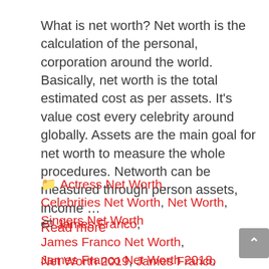What is net worth? Net worth is the calculation of the personal, corporation around the world. Basically, net worth is the total estimated cost as per assets. It's value cost every celebrity around globally. Assets are the main goal for net worth to measure the whole procedures. Networth can be measured through person assets, income … Read more
Categories: Actress Net Worth, Celebrities Net Worth, Net Worth, Singers Net Worth
Tags: James Franco, James Franco Net Worth, James Franco Net Worth 2018, James Franco Net Worth 2019, James Franco Net Worth 2020, Net Worth Of James Franco, What